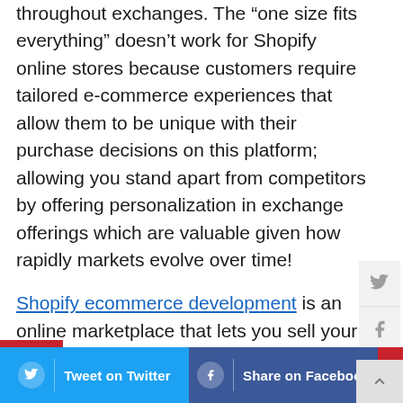throughout exchanges. The “one size fits everything” doesn’t work for Shopify online stores because customers require tailored e-commerce experiences that allow them to be unique with their purchase decisions on this platform; allowing you stand apart from competitors by offering personalization in exchange offerings which are valuable given how rapidly markets evolve over time!
Shopify ecommerce development is an online marketplace that lets you sell your products. They have features like managing inventory, payments & shipping for a business with ease!